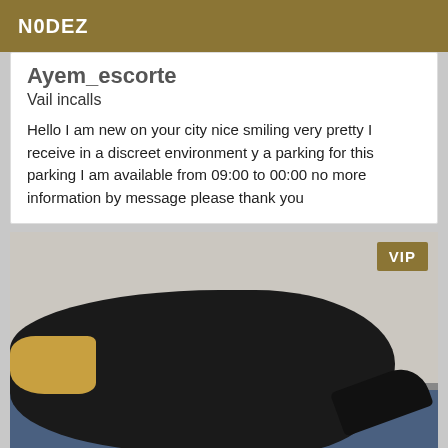N0DEZ
Ayem_escorte
Vail incalls
Hello I am new on your city nice smiling very pretty I receive in a discreet environment y a parking for this parking I am available from 09:00 to 00:00 no more information by message please thank you
[Figure (photo): Woman in black dress and high heels posed on a blue bed, viewed from behind, with a VIP badge overlay in the top right corner.]